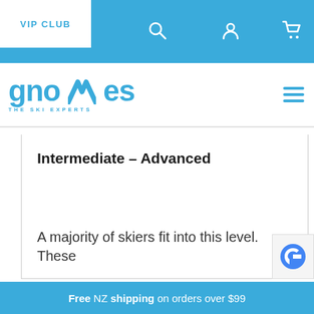VIP CLUB
[Figure (logo): Gnomes The Ski Experts logo in blue with stylized mountain/triangle in the letter M]
Intermediate – Advanced
A majority of skiers fit into this level. These
Free NZ shipping on orders over $99